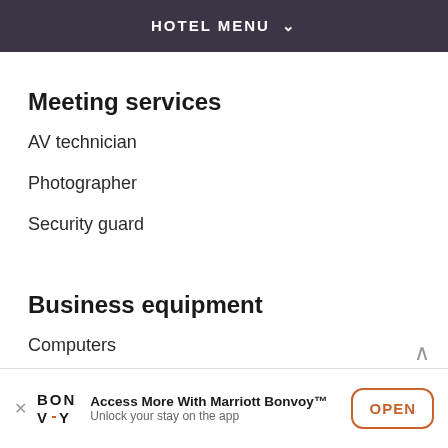HOTEL MENU
Meeting services
AV technician
Photographer
Security guard
Business equipment
Computers
Printers
Access More With Marriott Bonvoy™ Unlock your stay on the app OPEN